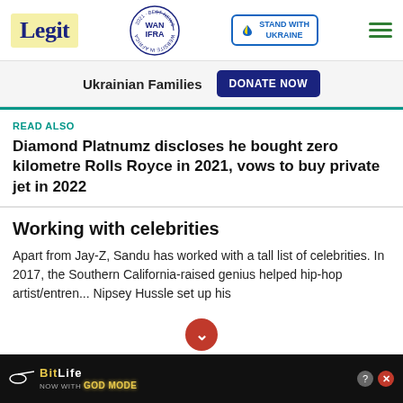Legit — WAN IFRA 2021 Best News Website in Africa — Stand with Ukraine
[Figure (infographic): Donate banner for Ukrainian Families with DONATE NOW button]
READ ALSO
Diamond Platnumz discloses he bought zero kilometre Rolls Royce in 2021, vows to buy private jet in 2022
Working with celebrities
Apart from Jay-Z, Sandu has worked with a tall list of celebrities. In 2017, the Southern California-raised genius helped hip-hop artist/entren... Nipsey Hussle set up his
[Figure (infographic): BitLife Now with God Mode advertisement banner at bottom]